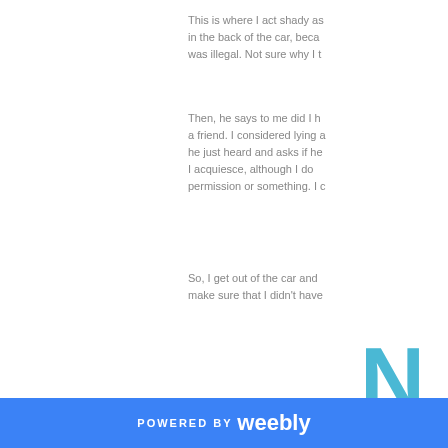This is where I act shady as in the back of the car, beca was illegal. Not sure why I t
Then, he says to me did I h a friend. I considered lying a he just heard and asks if he I acquiesce, although I do permission or something. I c
So, I get out of the car and make sure that I didn't have
[Figure (other): Large letter N in teal/blue color with underline]
He said needles. Not a gun. weapon he mentioned. As I
POWERED BY weebly